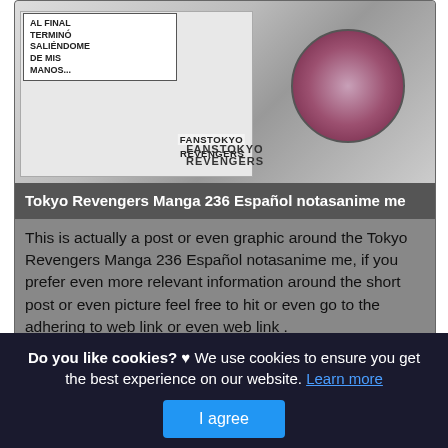[Figure (illustration): Manga image from Tokyo Revengers showing a character with speech bubble text and a circular inset portrait, with FANSTOKYO REVENGERS watermark]
Tokyo Revengers Manga 236 Español notasanime me
This is actually a post or even graphic around the Tokyo Revengers Manga 236 Español notasanime me, if you prefer even more relevant information around the short post or even picture feel free to hit or even go to the adhering to web link or even web link .
(Read More)
Source: www.notasanime.me Visit Web
Do you like cookies? ♥ We use cookies to ensure you get the best experience on our website. Learn more
I agree